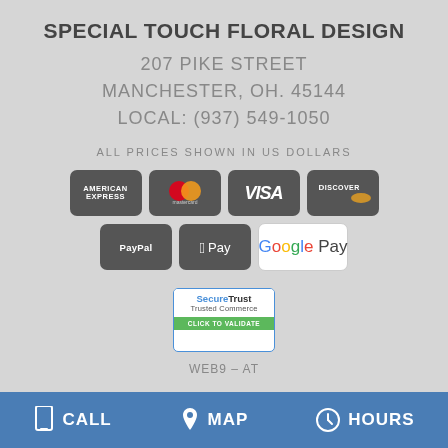SPECIAL TOUCH FLORAL DESIGN
207 PIKE STREET
MANCHESTER, OH. 45144
LOCAL: (937) 549-1050
ALL PRICES SHOWN IN US DOLLARS
[Figure (logo): Payment method logos: American Express, Mastercard, Visa, Discover, PayPal, Apple Pay, Google Pay]
[Figure (logo): SecureTrust Trusted Commerce badge - CLICK TO VALIDATE]
WEB9 – AT
CALL   MAP   HOURS